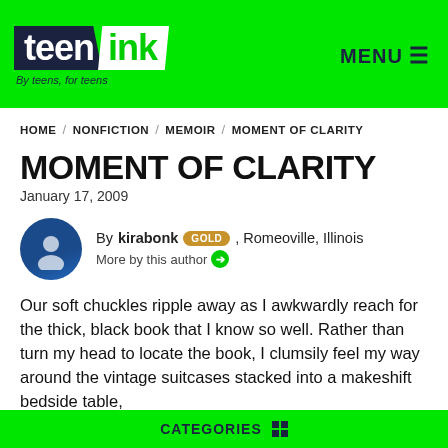[Figure (logo): Teen Ink logo with 'By teens, for teens' tagline on green background, with MENU hamburger icon on right]
HOME / NONFICTION / MEMOIR / MOMENT OF CLARITY
MOMENT OF CLARITY
January 17, 2009
By kirabonk GOLD, Romeoville, Illinois
More by this author
Our soft chuckles ripple away as I awkwardly reach for the thick, black book that I know so well. Rather than turn my head to locate the book, I clumsily feel my way around the vintage suitcases stacked into a makeshift bedside table,
CATEGORIES